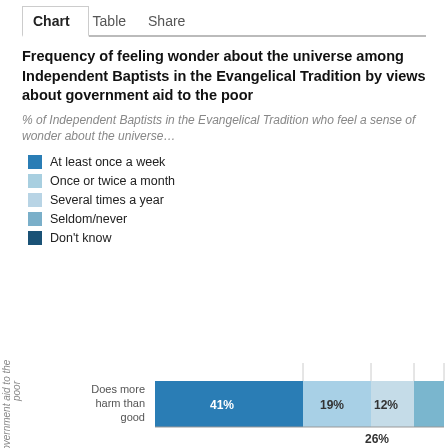Chart  Table  Share
Frequency of feeling wonder about the universe among Independent Baptists in the Evangelical Tradition by views about government aid to the poor
% of Independent Baptists in the Evangelical Tradition who feel a sense of wonder about the universe…
At least once a week
Once or twice a month
Several times a year
Seldom/never
Don't know
[Figure (stacked-bar-chart): Frequency of feeling wonder about the universe among Independent Baptists in the Evangelical Tradition by views about government aid to the poor]